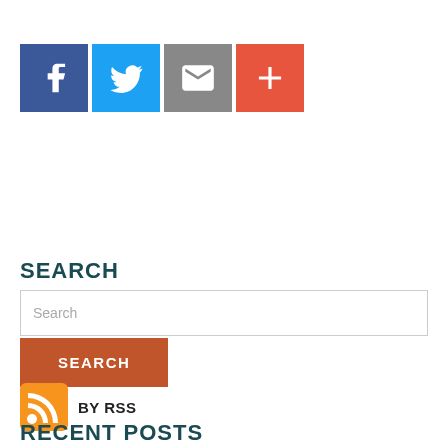[Figure (infographic): Four social share icon buttons: Facebook (blue), Twitter (light blue), Email (grey), Plus/More (orange-red)]
<< Back To Blogs
SEARCH
[Figure (screenshot): Search input field with placeholder text 'Search' and an orange SEARCH button below]
[Figure (infographic): RSS feed icon (orange) followed by text 'BY RSS']
RECENT POSTS